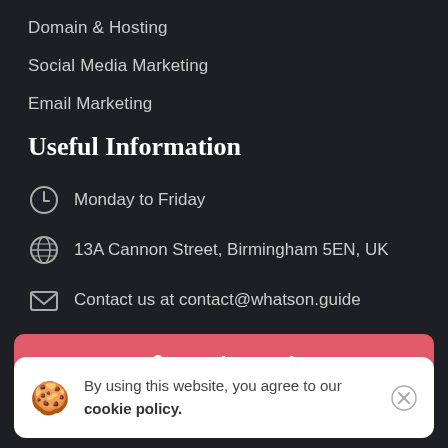Domain & Hosting
Social Media Marketing
Email Marketing
Useful Information
Monday to Friday
13A Cannon Street, Birmingham 5EN, UK
Contact us at contact@whatson.guide
Get in touch
By using this website, you agree to our cookie policy.